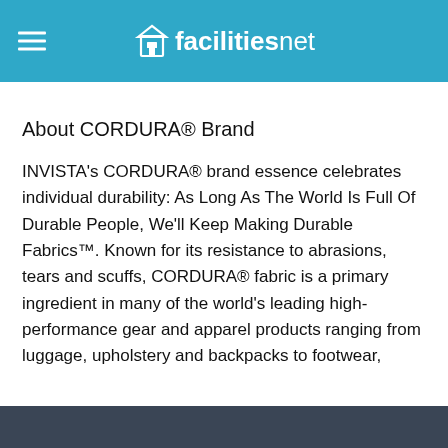facilitiesnet
About CORDURA® Brand
INVISTA's CORDURA® brand essence celebrates individual durability: As Long As The World Is Full Of Durable People, We'll Keep Making Durable Fabrics™. Known for its resistance to abrasions, tears and scuffs, CORDURA® fabric is a primary ingredient in many of the world's leading high-performance gear and apparel products ranging from luggage, upholstery and backpacks to footwear,